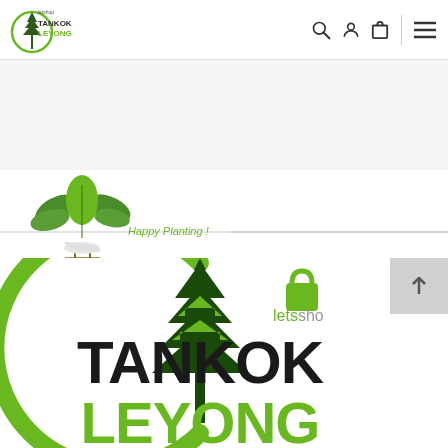letshop TANKOK LEYONG — navigation header with search, user, and menu icons
[Figure (illustration): Decorative plant illustration with 'Happy Planting !' text and horizontal divider lines]
[Figure (logo): Tankok Leyong letsshop logo — large green tree inside a green C-circle arc, with 'letsshop' padlock branding and text TANKOK LEYONG in bold dark green/black]